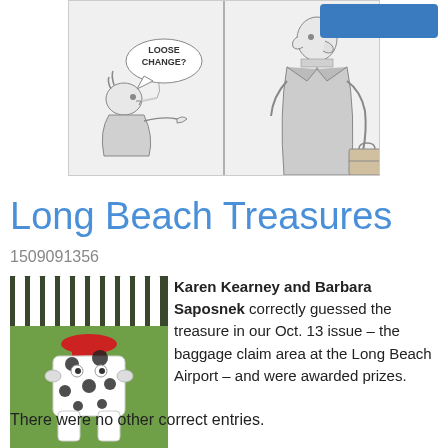[Figure (illustration): Two-panel cartoon comic strip. Left panel: a man with a speech bubble saying 'LOOSE CHANGE?' gesturing with his hand. Right panel: a tall man in a suit holding a briefcase.]
Long Beach Treasures
1509091356
[Figure (photo): Photo of a fire hydrant painted to look like a dalmatian dog, decorated with black spots and cartoon eyes, sitting on green grass in front of a white fence with a red cap on top.]
Karen Kearney and Barbara Saposnek correctly guessed the treasure in our Oct. 13 issue – the baggage claim area at the Long Beach Airport – and were awarded prizes.
There were no other correct entries.